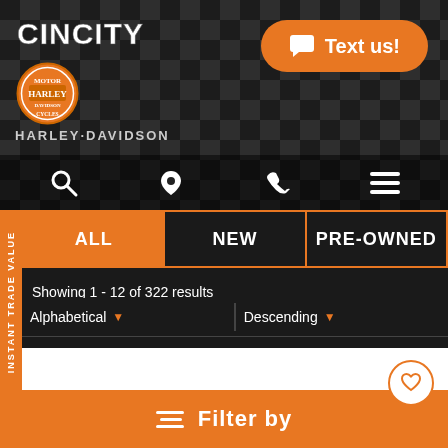[Figure (screenshot): CinCity Harley-Davidson dealership website header with checkered background, logo, and Text us button]
INSTANT TRADE VALUE
ALL
NEW
PRE-OWNED
Showing 1 - 12 of 322 results
Alphabetical
Descending
[Figure (photo): Black Harley-Davidson motorcycle on white background]
Filter by